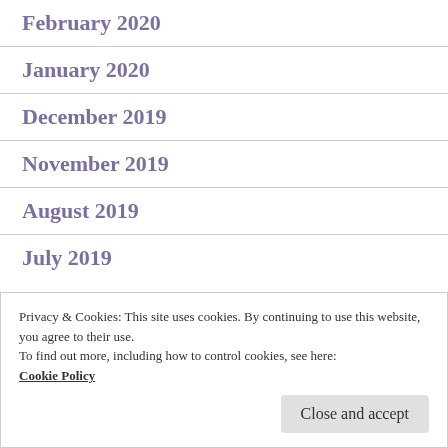February 2020
January 2020
December 2019
November 2019
August 2019
July 2019
Privacy & Cookies: This site uses cookies. By continuing to use this website, you agree to their use.
To find out more, including how to control cookies, see here: Cookie Policy
Close and accept